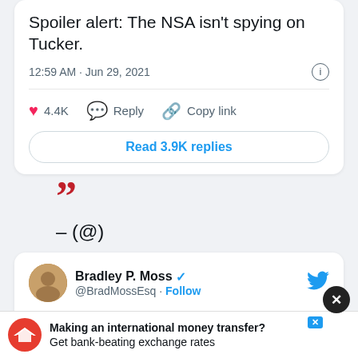Spoiler alert: The NSA isn't spying on Tucker.
12:59 AM · Jun 29, 2021
♥ 4.4K   Reply   Copy link
Read 3.9K replies
”
– (@)
Bradley P. Moss @BradMossEsq · Follow
Tucker is making serious accusations with no proof...y he a...
Making an international money transfer? Get bank-beating exchange rates